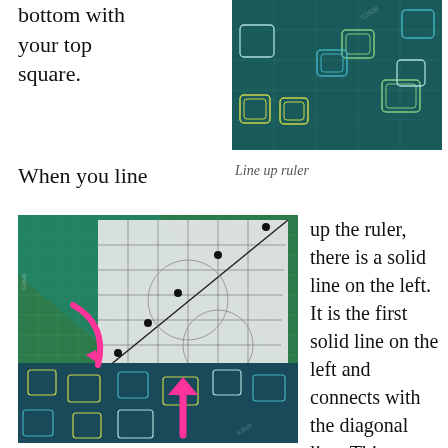bottom with your top square.
[Figure (photo): Close-up photo of dark teal fabric with square geometric patterns in yellow-green and cyan outlines on a grid cutting mat.]
When you line
Line up ruler
[Figure (photo): Photo of a quilting ruler placed diagonally over fabric squares on a green cutting mat, with pink arrows indicating alignment direction.]
up the ruler, there is a solid line on the left. It is the first solid line on the left and connects with the diagonal line. Thi